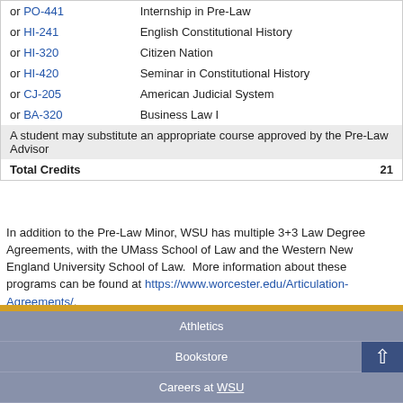|  | Course | Title | Credits |
| --- | --- | --- | --- |
| or | PO-441 | Internship in Pre-Law |  |
| or | HI-241 | English Constitutional History |  |
| or | HI-320 | Citizen Nation |  |
| or | HI-420 | Seminar in Constitutional History |  |
| or | CJ-205 | American Judicial System |  |
| or | BA-320 | Business Law I |  |
| A student may substitute an appropriate course approved by the Pre-Law Advisor |  |  |  |
| Total Credits |  |  | 21 |
In addition to the Pre-Law Minor, WSU has multiple 3+3 Law Degree Agreements, with the UMass School of Law and the Western New England University School of Law. More information about these programs can be found at https://www.worcester.edu/Articulation-Agreements/.
Athletics
Bookstore
Careers at WSU